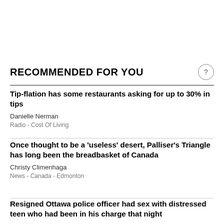RECOMMENDED FOR YOU
Tip-flation has some restaurants asking for up to 30% in tips
Danielle Nerman
Radio  -  Cost Of Living
Once thought to be a 'useless' desert, Palliser's Triangle has long been the breadbasket of Canada
Christy Climenhaga
News  -  Canada  -  Edmonton
Resigned Ottawa police officer had sex with distressed teen who had been in his charge that night